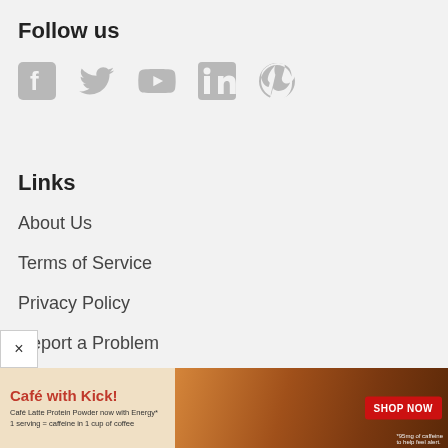Follow us
[Figure (illustration): Social media icons: Facebook, Twitter, YouTube, LinkedIn, Pinterest — all in gray]
Links
About Us
Terms of Service
Privacy Policy
Report a Problem
Help
[Figure (photo): Advertisement banner: 'Café with Kick! Café Latte Protein Powder now with Energy* 1 serving = caffeine in 1 cup of coffee' with SHOP NOW button, food imagery background, and small print '*95mg of caffeine to help feel alert.']